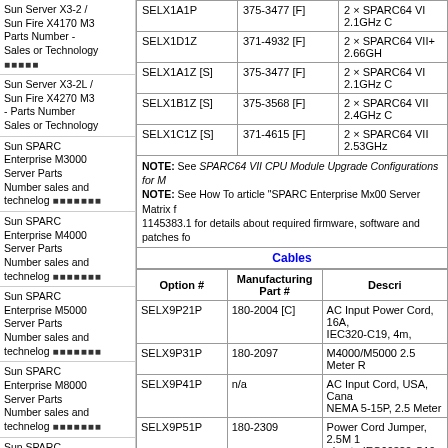Sun Server X3-2 / Sun Fire X4170 M3 Parts Number - Sales or Technology ■■■■■
Sun Server X3-2L / Sun Fire X4270 M3 - Parts Number Sales or Technology
Sun SPARC Enterprise M3000 Server Parts Number sales and technelog ■■■■■■■
Sun SPARC Enterprise M4000 Server Parts Number sales and technelog ■■■■■■■
Sun SPARC Enterprise M5000 Server Parts Number sales and technelog ■■■■■■■
Sun SPARC Enterprise M8000 Server Parts Number sales and technelog ■■■■■■■
Sun SPARC Enterprise M9000 Server Parts Number sales and technelog ■■■■■■■
Sun Storage 2530
| Option # | Manufacturing Part # | Description |
| --- | --- | --- |
| SELX1A1P | 375-3477 [F] | 2 × SPARC64 VI 2.1GHz C... |
| SELX1D1Z | 371-4932 [F] | 2 × SPARC64 VII+ 2.66GH... |
| SELX1A1Z [S] | 375-3477 [F] | 2 × SPARC64 VI 2.1GHz C... |
| SELX1B1Z [S] | 375-3568 [F] | 2 × SPARC64 VII 2.4GHz C... |
| SELX1C1Z [S] | 371-4615 [F] | 2 × SPARC64 VII 2.53GHz... |
NOTE: See SPARC64 VII CPU Module Upgrade Configurations for M... NOTE: See How To article "SPARC Enterprise Mx00 Server Matrix f... 1145383.1 for details about required firmware, software and patches fo...
| Option # | Manufacturing Part # | Description |
| --- | --- | --- |
| SELX9P21P | 180-2004 [C] | AC Input Power Cord, 16A, IEC320-C19, 4m, |
| SELX9P31P | 180-2097 | M4000/M5000 2.5 Meter R... |
| SELX9P41P | n/a | AC Input Cord, USA, Cana... NEMA 5-15P, 2.5 Meter |
| SELX9P51P | 180-2309 | Power Cord Jumper, 2.5M 1... plug to IEC60320-C19 conn... |
| SELX9P61P | 180-2421 [C] | IEC 320 C19 to IRAM 2073... |
| SELX9P81Z | 180-2453 | AC Input Power Cord, Euro... C19, 4.0M |
| SELX9P91Z | 180-2095 | Power Cord, 20A, (IEC 320... |
| SELX9P11P [S] | 180-2005 [C] | AC Input Power Cord, 20A... 20P to IEC320-C19, 4m... |